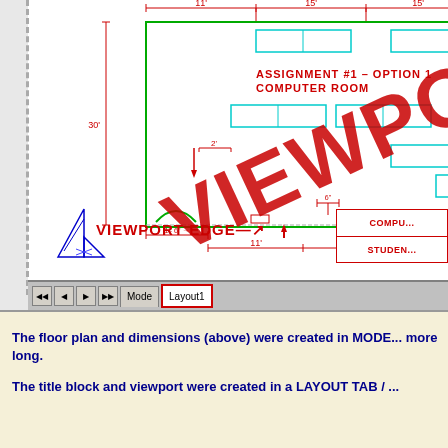[Figure (engineering-diagram): AutoCAD Layout tab showing a floor plan of a computer room with dimensions (11', 15', 15', 30', 2', 6', 1'-6", 11', 15', 13'), a large red 'VIEWPORT' watermark text rotated diagonally across the drawing, a 'VIEWPORT EDGE' label with an arrow pointing to the viewport boundary, a title block showing 'COMPU...' and 'STUDEN...' text, CAD toolbar with Model and Layout1 tabs at the bottom, and a blue triangle/compass symbol in the lower left corner.]
The floor plan and dimensions (above) were created in MODE... more long.
The title block and viewport were created in a LAYOUT TAB / ...